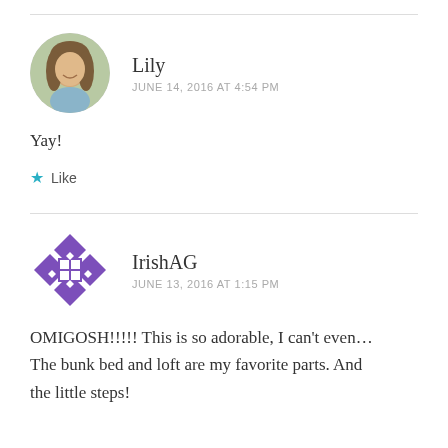Lily
JUNE 14, 2016 AT 4:54 PM
Yay!
★ Like
IrishAG
JUNE 13, 2016 AT 1:15 PM
OMIGOSH!!!!! This is so adorable, I can't even… The bunk bed and loft are my favorite parts. And the little steps!